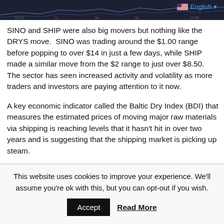[Figure (screenshot): Dark background stock chart screenshot at the top of the page]
English
SINO and SHIP were also big movers but nothing like the DRYS move.  SINO was trading around the $1.00 range before popping to over $14 in just a few days, while SHIP made a similar move from the $2 range to just over $8.50.  The sector has seen increased activity and volatility as more traders and investors are paying attention to it now.
A key economic indicator called the Baltic Dry Index (BDI) that measures the estimated prices of moving major raw materials via shipping is reaching levels that it hasn't hit in over two years and is suggesting that the shipping market is picking up steam.
This website uses cookies to improve your experience. We'll assume you're ok with this, but you can opt-out if you wish.
Accept
Read More